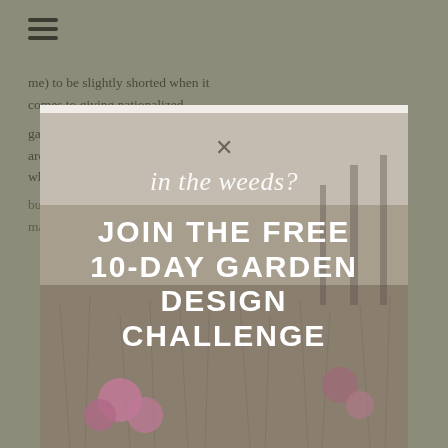[Figure (other): Hamburger menu icon (three horizontal lines) in dark olive color at top left]
me) to be slightly shorted when it comes to giving nationalized gardening credit. Brits (deservedly) are the ones that everyone thinks of when you th... but I think the Dutch right to make...
[Figure (infographic): A popup/modal overlay on a meadow photograph background. Contains a close (X) button at top, cursive script text reading 'in the weeds?' and large bold uppercase text reading 'JOIN THE FREE 10-DAY GARDEN DESIGN CHALLENGE' with purple thistle flowers visible in the lower portion of the image.]